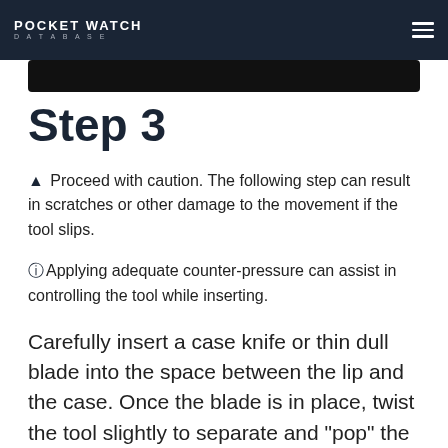POCKET WATCH DATABASE
[Figure (photo): Dark image strip showing partial view of a pocket watch or related object]
Step 3
⚠ Proceed with caution. The following step can result in scratches or other damage to the movement if the tool slips.
ℹ Applying adequate counter-pressure can assist in controlling the tool while inserting.
Carefully insert a case knife or thin dull blade into the space between the lip and the case. Once the blade is in place, twist the tool slightly to separate and "pop" the cover. To prevent scratches and other damage, place a...